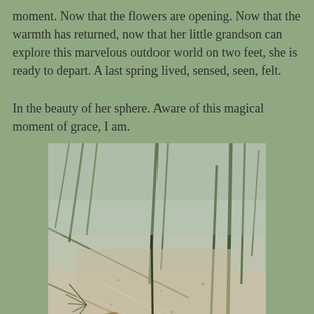moment. Now that the flowers are opening. Now that the warmth has returned, now that her little grandson can explore this marvelous outdoor world on two feet, she is ready to depart. A last spring lived, sensed, seen, felt.
In the beauty of her sphere. Aware of this magical moment of grace, I am.
[Figure (photo): Close-up photograph of sandy ground with grass stems, pine needles, and dried leaves. Green grass blades and thin dark stalks rise from pale sandy soil, with some spider web or cottony fiber visible.]